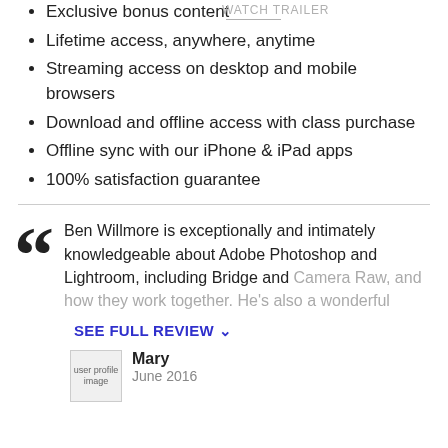25h 10m of class content
Exclusive bonus content
Lifetime access, anywhere, anytime
Streaming access on desktop and mobile browsers
Download and offline access with class purchase
Offline sync with our iPhone & iPad apps
100% satisfaction guarantee
Ben Willmore is exceptionally and intimately knowledgeable about Adobe Photoshop and Lightroom, including Bridge and Camera Raw, and how they work together. He's also a wonderful
SEE FULL REVIEW
Mary
June 2016